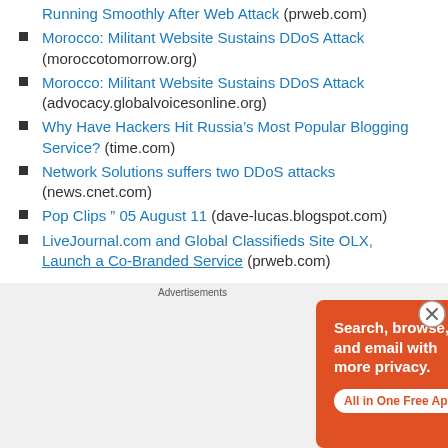Running Smoothly After Web Attack (prweb.com)
Morocco: Militant Website Sustains DDoS Attack (moroccotomorrow.org)
Morocco: Militant Website Sustains DDoS Attack (advocacy.globalvoicesonline.org)
Why Have Hackers Hit Russia’s Most Popular Blogging Service? (time.com)
Network Solutions suffers two DDoS attacks (news.cnet.com)
Pop Clips ” 05 August 11 (dave-lucas.blogspot.com)
LiveJournal.com and Global Classifieds Site OLX, Launch a Co-Branded Service (prweb.com)
[Figure (screenshot): DuckDuckGo advertisement banner with orange background. Text: 'Search, browse, and email with more privacy. All in One Free App' with a phone graphic and DuckDuckGo logo.]